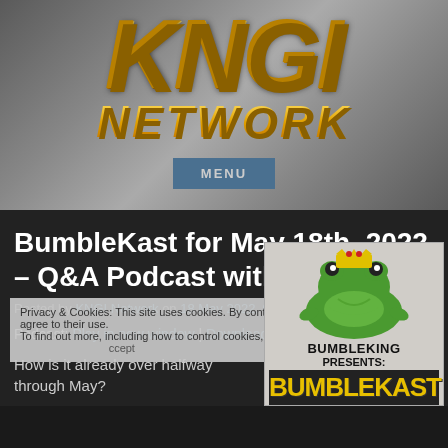[Figure (logo): KNGI Network logo with large gold italic text 'KNGI' above 'NETWORK' on a metallic grey background]
BumbleKast for May 18th, 2022 – Q&A Podcast with Ian Flynn
Posted by KNGI Network on 18 May 2022, 9:00 am
Privacy & Cookies: This site uses cookies. By continuing to use this website, you agree to their use. To find out more, including how to control cookies, see here: Cookie Policy
Podcast: Play in new window | Download
[Figure (logo): BumbleKing Presents: BumbleKast logo with green cartoon frog character on grey background]
How is it already over halfway through May?